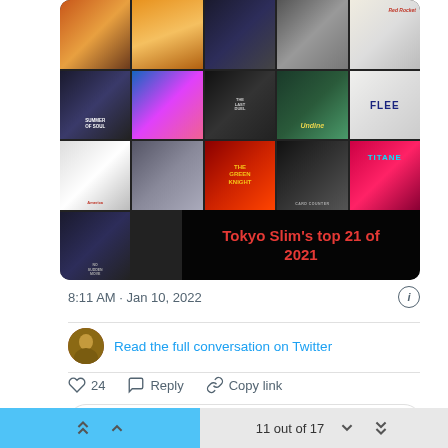[Figure (photo): A collage of movie poster thumbnails arranged in a grid with text overlay reading 'Tokyo Slim's top 21 of 2021' on a dark background]
8:11 AM · Jan 10, 2022
Read the full conversation on Twitter
24
Reply
Copy link
Read 10 replies
11 out of 17